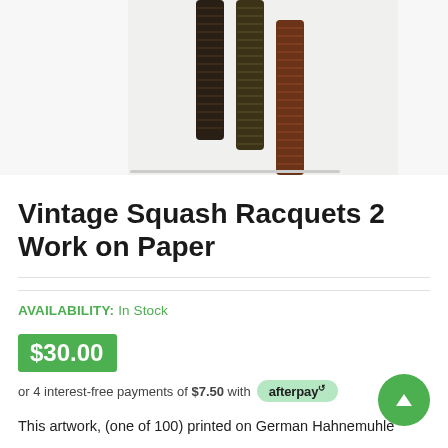[Figure (photo): Partial view of vintage squash racquet handles hanging against white background — dark brown and reddish-brown wrapped grips visible from above]
Vintage Squash Racquets 2 Work on Paper
AVAILABILITY: In Stock
$30.00
or 4 interest-free payments of $7.50 with afterpay
This artwork, (one of 100) printed on German Hahnemuhle